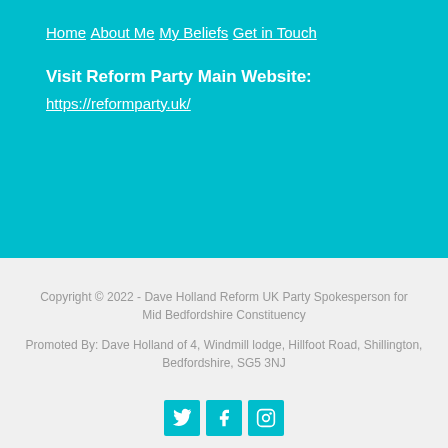Home
About Me
My Beliefs
Get in Touch
Visit Reform Party Main Website:
https://reformparty.uk/
Copyright © 2022 - Dave Holland Reform UK Party Spokesperson for Mid Bedfordshire Constituency
Promoted By: Dave Holland of 4, Windmill lodge, Hillfoot Road, Shillington, Bedfordshire, SG5 3NJ